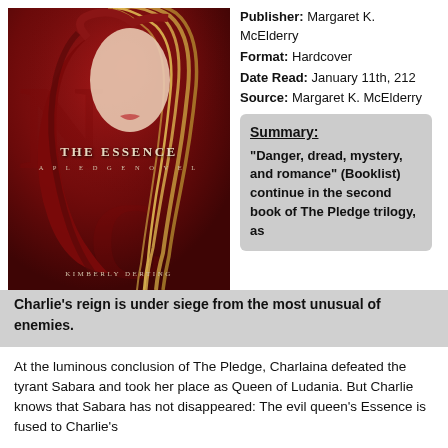[Figure (illustration): Book cover of 'The Essence: A Pledge Novel' by Kimberly Derting. Dark red background with a girl with long blonde hair wearing a red hood. Title text 'THE ESSENCE' and subtitle 'A PLEDGE NOVEL' and author name 'KIMBERLY DERTING' displayed on cover.]
Publisher: Margaret K. McElderry
Format: Hardcover
Date Read: January 11th, 212
Source: Margaret K. McElderry
Summary:
"Danger, dread, mystery, and romance" (Booklist) continue in the second book of The Pledge trilogy, as Charlie's reign is under siege from the most unusual of enemies.
At the luminous conclusion of The Pledge, Charlaina defeated the tyrant Sabara and took her place as Queen of Ludania. But Charlie knows that Sabara has not disappeared: The evil queen's Essence is fused to Charlie's